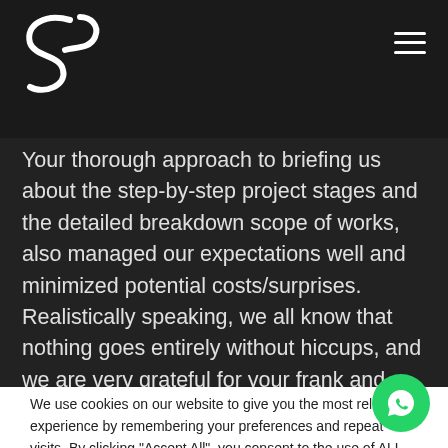Design 4 Space Pte Ltd
Your thorough approach to briefing us about the step-by-step project stages and the detailed breakdown scope of works, also managed our expectations well and minimized potential costs/surprises. Realistically speaking, we all know that nothing goes entirely without hiccups, and we are very grateful for your frank and timely updates to report any delays that cropped up
We use cookies on our website to give you the most relevant experience by remembering your preferences and repeat visits. By clicking "Accept All", you consent to the use of ALL the cookies. However, you may visit 'Cookie Settings' to provide a controlled consent.